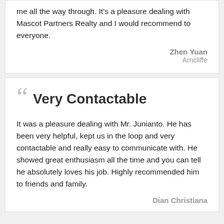me all the way through. It's a pleasure dealing with Mascot Partners Realty and I would recommend to everyone.
Zhen Yuan
Arncliffe
Very Contactable
It was a pleasure dealing with Mr. Junianto. He has been very helpful, kept us in the loop and very contactable and really easy to communicate with. He showed great enthusiasm all the time and you can tell he absolutely loves his job. Highly recommended him to friends and family.
Dian Christiana